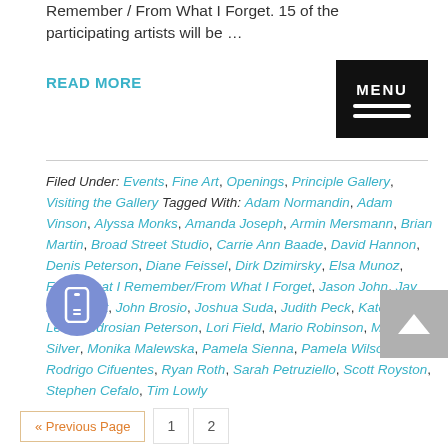Remember / From What I Forget. 15 of the participating artists will be …
READ MORE
[Figure (other): MENU button with hamburger icon]
Filed Under: Events, Fine Art, Openings, Principle Gallery, Visiting the Gallery Tagged With: Adam Normandin, Adam Vinson, Alyssa Monks, Amanda Joseph, Armin Mersmann, Brian Martin, Broad Street Studio, Carrie Ann Baade, David Hannon, Denis Peterson, Diane Feissel, Dirk Dzimirsky, Elsa Munoz, From What I Remember/From What I Forget, Jason John, Jay Davenport, John Brosio, Joshua Suda, Judith Peck, Kate Kretz, Leah Bedrosian Peterson, Lori Field, Mario Robinson, Mimi Hart Silver, Monika Malewska, Pamela Sienna, Pamela Wilson, Rodrigo Cifuentes, Ryan Roth, Sarah Petruziello, Scott Royston, Stephen Cefalo, Tim Lowly
[Figure (other): Scroll/mobile icon button (circular blue button with device icon)]
[Figure (other): Back to top arrow button (grey square with white up arrow)]
« Previous Page  1  2